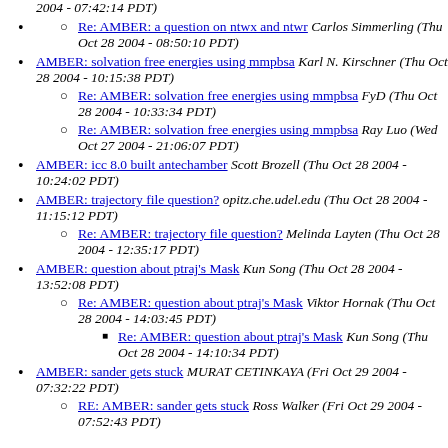2004 - 07:42:14 PDT)
Re: AMBER: a question on ntwx and ntwr Carlos Simmerling (Thu Oct 28 2004 - 08:50:10 PDT)
AMBER: solvation free energies using mmpbsa Karl N. Kirschner (Thu Oct 28 2004 - 10:15:38 PDT)
Re: AMBER: solvation free energies using mmpbsa FyD (Thu Oct 28 2004 - 10:33:34 PDT)
Re: AMBER: solvation free energies using mmpbsa Ray Luo (Wed Oct 27 2004 - 21:06:07 PDT)
AMBER: icc 8.0 built antechamber Scott Brozell (Thu Oct 28 2004 - 10:24:02 PDT)
AMBER: trajectory file question? opitz.che.udel.edu (Thu Oct 28 2004 - 11:15:12 PDT)
Re: AMBER: trajectory file question? Melinda Layten (Thu Oct 28 2004 - 12:35:17 PDT)
AMBER: question about ptraj's Mask Kun Song (Thu Oct 28 2004 - 13:52:08 PDT)
Re: AMBER: question about ptraj's Mask Viktor Hornak (Thu Oct 28 2004 - 14:03:45 PDT)
Re: AMBER: question about ptraj's Mask Kun Song (Thu Oct 28 2004 - 14:10:34 PDT)
AMBER: sander gets stuck MURAT CETINKAYA (Fri Oct 29 2004 - 07:32:22 PDT)
RE: AMBER: sander gets stuck Ross Walker (Fri Oct 29 2004 - 07:52:43 PDT)